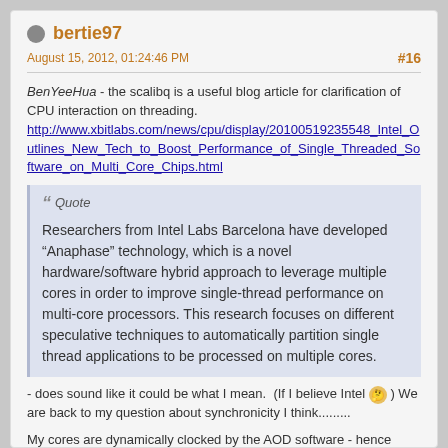bertie97
August 15, 2012, 01:24:46 PM
#16
BenYeeHua - the scalibq is a useful blog article for clarification of CPU interaction on threading. http://www.xbitlabs.com/news/cpu/display/20100519235548_Intel_Outlines_New_Tech_to_Boost_Performance_of_Single_Threaded_Software_on_Multi_Core_Chips.html
Quote
Researchers from Intel Labs Barcelona have developed “Anaphase” technology, which is a novel hardware/software hybrid approach to leverage multiple cores in order to improve single-thread performance on multi-core processors. This research focuses on different speculative techniques to automatically partition single thread applications to be processed on multiple cores.
- does sound like it could be what I mean.  (If I believe Intel ) We are back to my question about synchronicity I think.........
My cores are dynamically clocked by the AOD software - hence